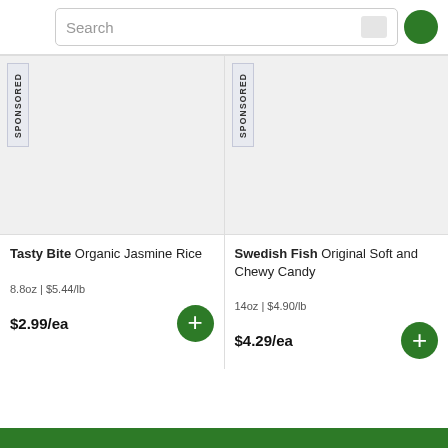[Figure (screenshot): Search bar with text 'Search', microphone icon, and green circle icon at the top of a grocery shopping app]
SPONSORED
SPONSORED
Tasty Bite Organic Jasmine Rice
Swedish Fish Original Soft and Chewy Candy
8.8oz | $5.44/lb
14oz | $4.90/lb
$2.99/ea
$4.29/ea